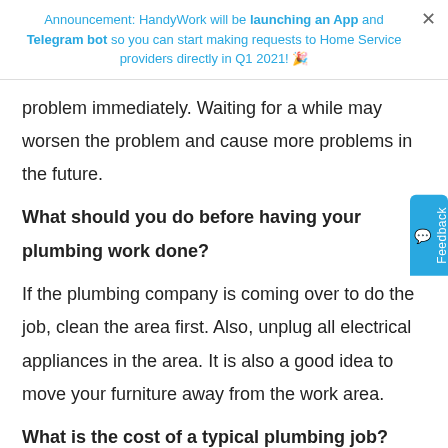Announcement: HandyWork will be launching an App and Telegram bot so you can start making requests to Home Service providers directly in Q1 2021! 🎉
problem immediately. Waiting for a while may worsen the problem and cause more problems in the future.
What should you do before having your plumbing work done?
If the plumbing company is coming over to do the job, clean the area first. Also, unplug all electrical appliances in the area. It is also a good idea to move your furniture away from the work area.
What is the cost of a typical plumbing job?